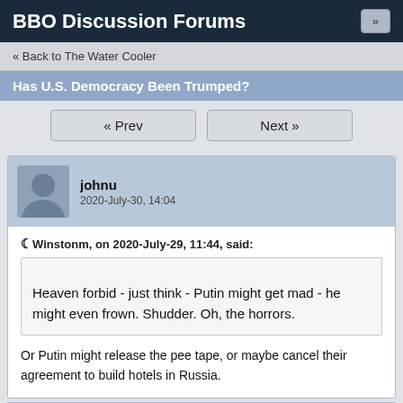BBO Discussion Forums
« Back to The Water Cooler
Has U.S. Democracy Been Trumped?
« Prev   Next »
johnu
2020-July-30, 14:04
Winstonm, on 2020-July-29, 11:44, said:
Heaven forbid - just think - Putin might get mad - he might even frown. Shudder. Oh, the horrors.
Or Putin might release the pee tape, or maybe cancel their agreement to build hotels in Russia.